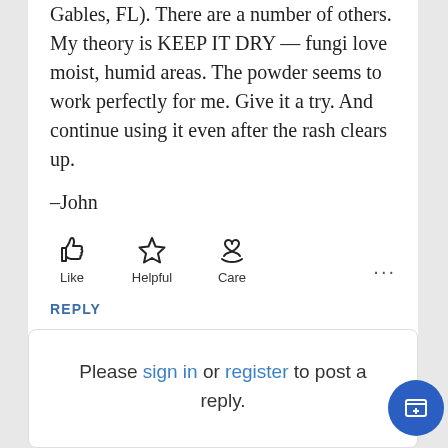Gables, FL). There are a number of others. My theory is KEEP IT DRY — fungi love moist, humid areas. The powder seems to work perfectly for me. Give it a try. And continue using it even after the rash clears up.
–John
[Figure (infographic): Three reaction buttons: Like (thumbs up icon), Helpful (star icon), Care (hand holding heart icon), and a more options ellipsis on the right]
REPLY
Please sign in or register to post a reply.